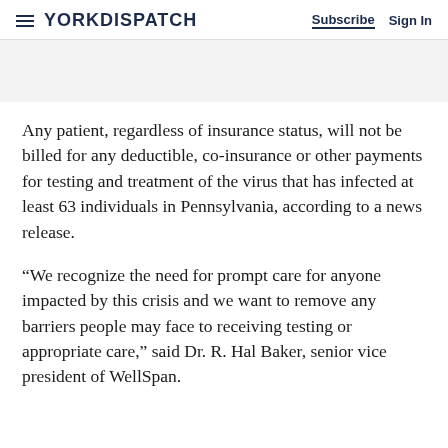YORK DISPATCH | Subscribe  Sign In
Any patient, regardless of insurance status, will not be billed for any deductible, co-insurance or other payments for testing and treatment of the virus that has infected at least 63 individuals in Pennsylvania, according to a news release.
“We recognize the need for prompt care for anyone impacted by this crisis and we want to remove any barriers people may face to receiving testing or appropriate care,” said Dr. R. Hal Baker, senior vice president of WellSpan.